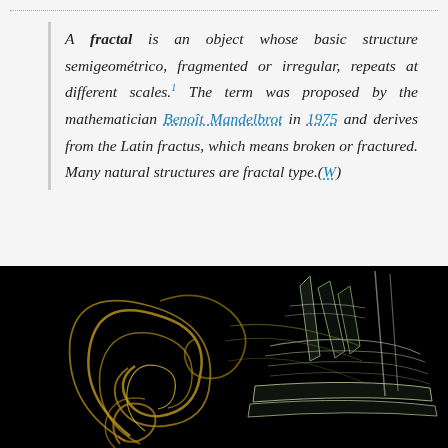A fractal is an object whose basic structure semigeométrico, fragmented or irregular, repeats at different scales.¹ The term was proposed by the mathematician Benoît Mandelbrot in 1975 and derives from the Latin fractus, which means broken or fractured. Many natural structures are fractal type.(W)
[Figure (illustration): A fractal visualization on a black background showing swirling golden-yellow and green-white curved lines forming a complex, self-similar fractal pattern resembling flames or fluid dynamics.]